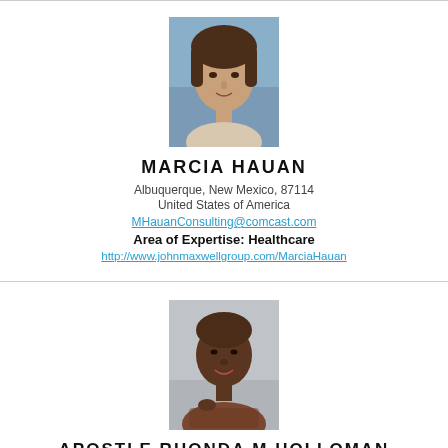[Figure (photo): Headshot of Marcia Hauan, a woman with dark shoulder-length hair]
MARCIA HAUAN
Albuquerque, New Mexico, 87114
United States of America
MHauanConsulting@comcast.com
Area of Expertise: Healthcare
http://www.johnmaxwellgroup.com/MarciaHauan
[Figure (photo): Headshot of Apostle Rhonda M Holloman, a woman smiling]
APOSTLE RHONDA M HOLLOMAN
Chesapeake, VA, 23322